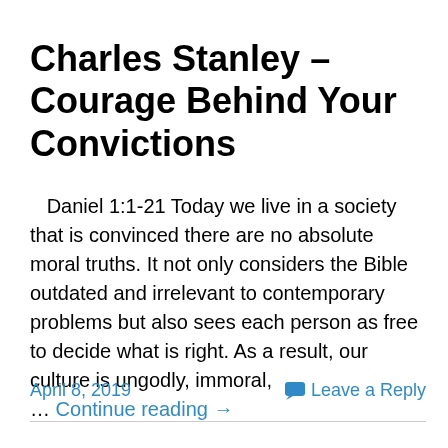Charles Stanley – Courage Behind Your Convictions
Daniel 1:1-21 Today we live in a society that is convinced there are no absolute moral truths. It not only considers the Bible outdated and irrelevant to contemporary problems but also sees each person as free to decide what is right. As a result, our culture is ungodly, immoral, … Continue reading →
April 8, 2019   Leave a Reply